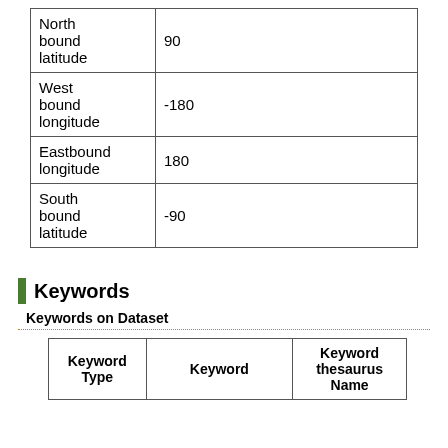|  |  |
| --- | --- |
| North bound latitude | 90 |
| West bound longitude | -180 |
| Eastbound longitude | 180 |
| South bound latitude | -90 |
Keywords
Keywords on Dataset
| Keyword Type | Keyword | Keyword thesaurus Name |
| --- | --- | --- |